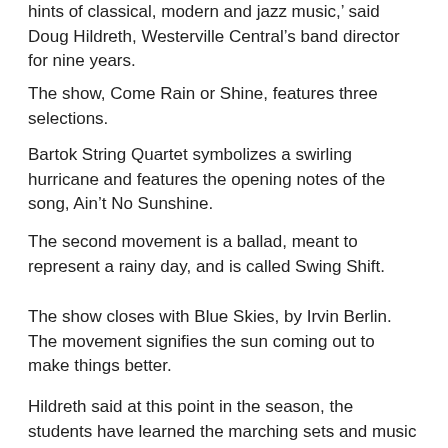hints of classical, modern and jazz music,' said Doug Hildreth, Westerville Central's band director for nine years.
The show, Come Rain or Shine, features three selections.
Bartok String Quartet symbolizes a swirling hurricane and features the opening notes of the song, Ain't No Sunshine.
The second movement is a ballad, meant to represent a rainy day, and is called Swing Shift.
The show closes with Blue Skies, by Irvin Berlin. The movement signifies the sun coming out to make things better.
Hildreth said at this point in the season, the students have learned the marching sets and music for the first two movements.